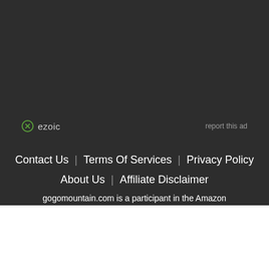[Figure (logo): Ezoic logo with circular icon and text 'ezoic' next to 'report this ad' link]
Contact Us | Terms Of Services | Privacy Policy | About Us | Affiliate Disclaimer
gogomountain.com is a participant in the Amazon